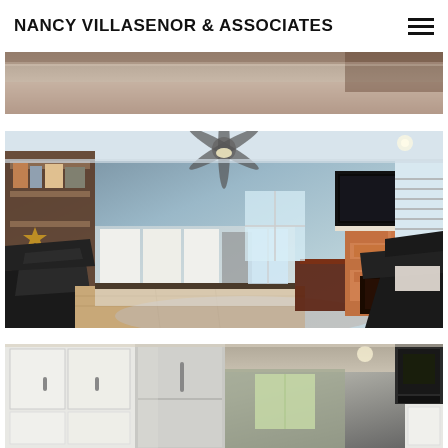NANCY VILLASENOR & ASSOCIATES
[Figure (photo): Partial interior room photo, cropped at top — carpet and furniture visible]
[Figure (photo): Living room interior with blue-gray walls, ceiling fan, brick fireplace, wall-mounted TV, black leather recliners, bookshelf, and open kitchen in background]
[Figure (photo): Kitchen interior with white cabinets, stainless steel appliances, recessed lighting, refrigerator visible]